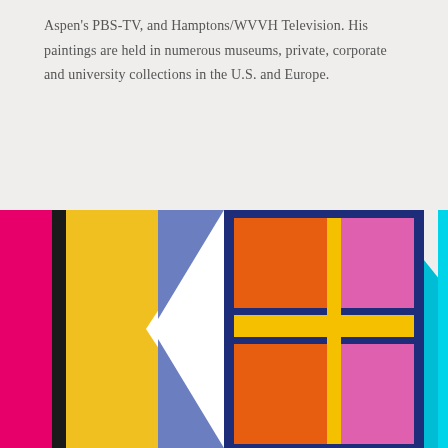Aspen's PBS-TV, and Hamptons/WVVH Television. His paintings are held in numerous museums, private, corporate and university collections in the U.S. and Europe.
[Figure (illustration): Two abstract geometric paintings side by side. Left painting: bold vertical bands of magenta/pink, black, yellow/gold, with a large white diamond/chevron shape and a blue-purple triangle on the right. Right painting: geometric grid of orange rectangles, pink/magenta rectangles, yellow cross/grid lines, all on a dark navy blue background, with a narrow teal/turquoise triangle and cyan strip at far right edge.]